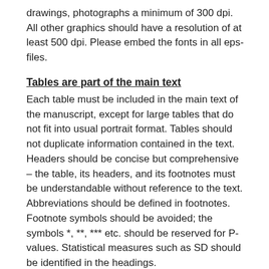drawings, photographs a minimum of 300 dpi. All other graphics should have a resolution of at least 500 dpi. Please embed the fonts in all eps-files.
Tables are part of the main text
Each table must be included in the main text of the manuscript, except for large tables that do not fit into usual portrait format. Tables should not duplicate information contained in the text. Headers should be concise but comprehensive – the table, its headers, and its footnotes must be understandable without reference to the text. Abbreviations should be defined in footnotes. Footnote symbols should be avoided; the symbols *, **, *** etc. should be reserved for P-values. Statistical measures such as SD should be identified in the headings.
If large material is to be presented, it should be loaded as supplementary information as txt-, cvs-, xls-files.
Supplementary Information